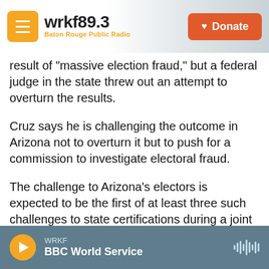wrkf89.3 Baton Rouge Public Radio | Donate
result of "massive election fraud," but a federal judge in the state threw out an attempt to overturn the results.
Cruz says he is challenging the outcome in Arizona not to overturn it but to push for a commission to investigate electoral fraud.
The challenge to Arizona's electors is expected to be the first of at least three such challenges to state certifications during a joint congressional session.
The House and Senate will each debate the
WRKF | BBC World Service